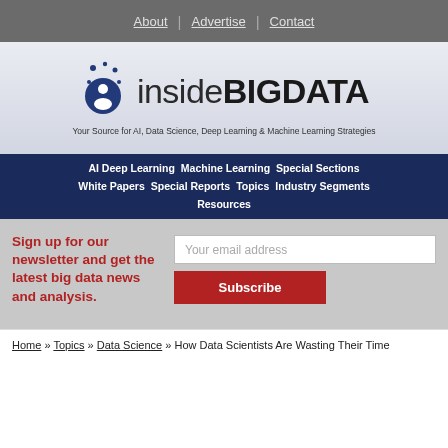About | Advertise | Contact
[Figure (logo): insideBIGDATA logo with icon and tagline: Your Source for AI, Data Science, Deep Learning & Machine Learning Strategies]
AI Deep Learning | Machine Learning | Special Sections | White Papers | Special Reports | Topics | Industry Segments | Resources
Sign up for our newsletter and get the latest big data news and analysis.
Your email address
Subscribe
Home » Topics » Data Science » How Data Scientists Are Wasting Their Time